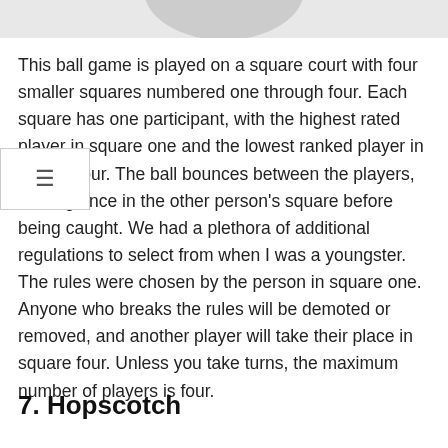[Figure (illustration): Partial image visible at top of page, cropped]
This ball game is played on a square court with four smaller squares numbered one through four. Each square has one participant, with the highest rated player in square one and the lowest ranked player in square four. The ball bounces between the players, landing once in the other person's square before being caught. We had a plethora of additional regulations to select from when I was a youngster. The rules were chosen by the person in square one. Anyone who breaks the rules will be demoted or removed, and another player will take their place in square four. Unless you take turns, the maximum number of players is four.
7. Hopscotch